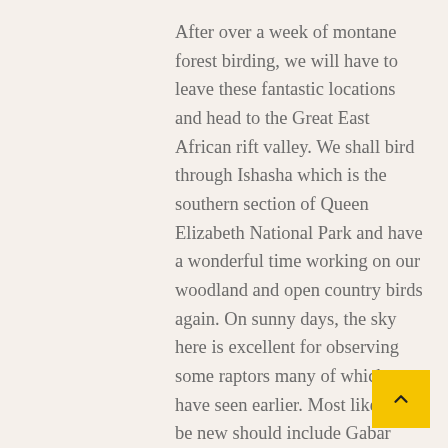After over a week of montane forest birding, we will have to leave these fantastic locations and head to the Great East African rift valley. We shall bird through Ishasha which is the southern section of Queen Elizabeth National Park and have a wonderful time working on our woodland and open country birds again. On sunny days, the sky here is excellent for observing some raptors many of which may have seen earlier. Most likely to be new should include Gabar Goshawk, White-headed and Lappet-faced Vulture, Rufous-breasted Sparrow-hawk and Banded Snake-Eagle.
This stretch usually offers Impressive views